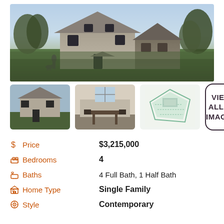[Figure (photo): Exterior rendering of a contemporary single-family home with shingle siding and dark accents, set in a grassy landscape]
[Figure (photo): Thumbnail: exterior view of the home from a different angle]
[Figure (photo): Thumbnail: interior view showing dining area]
[Figure (schematic): Thumbnail: site plan / lot diagram]
VIEW ALL 16 IMAGES
| Label | Value |
| --- | --- |
| Price | $3,215,000 |
| Bedrooms | 4 |
| Baths | 4 Full Bath, 1 Half Bath |
| Home Type | Single Family |
| Style | Contemporary |